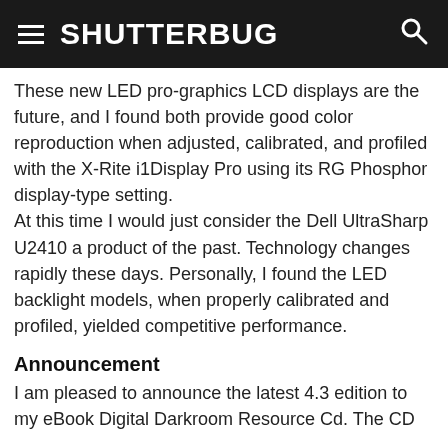SHUTTERBUG
These new LED pro-graphics LCD displays are the future, and I found both provide good color reproduction when adjusted, calibrated, and profiled with the X-Rite i1Display Pro using its RG Phosphor display-type setting.
At this time I would just consider the Dell UltraSharp U2410 a product of the past. Technology changes rapidly these days. Personally, I found the LED backlight models, when properly calibrated and profiled, yielded competitive performance.
Announcement
I am pleased to announce the latest 4.3 edition to my eBook Digital Darkroom Resource Cd. The CD